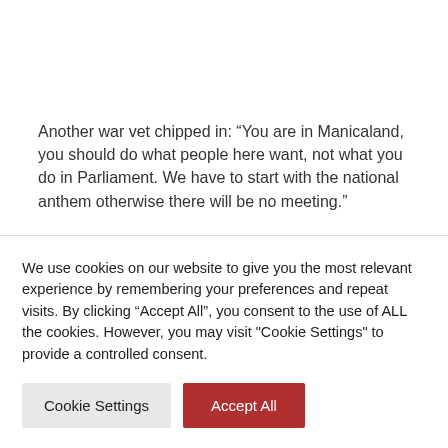Another war vet chipped in: “You are in Manicaland, you should do what people here want, not what you do in Parliament. We have to start with the national anthem otherwise there will be no meeting.”
However Mumvuri turned down their demands.
We use cookies on our website to give you the most relevant experience by remembering your preferences and repeat visits. By clicking “Accept All”, you consent to the use of ALL the cookies. However, you may visit "Cookie Settings" to provide a controlled consent.